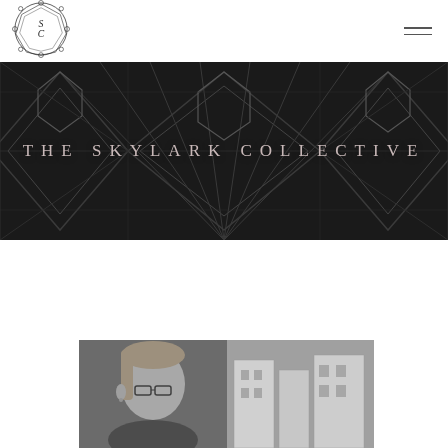[Figure (logo): SC monogram logo inside a circular decorative frame with scalloped/octagonal border]
THE SKYLARK COLLECTIVE
[Figure (photo): Black and white close-up portrait of a woman with short blonde hair and glasses, against a blurred street/city background]
[Figure (illustration): Dark art deco geometric pattern background with overlapping diamonds, fans, and angular shapes in dark gray/black]